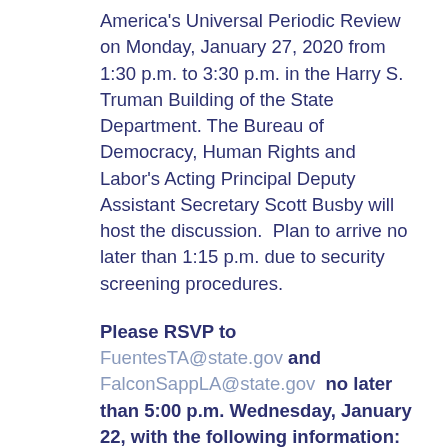America's Universal Periodic Review on Monday, January 27, 2020 from 1:30 p.m. to 3:30 p.m. in the Harry S. Truman Building of the State Department. The Bureau of Democracy, Human Rights and Labor's Acting Principal Deputy Assistant Secretary Scott Busby will host the discussion.  Plan to arrive no later than 1:15 p.m. due to security screening procedures.
Please RSVP to FuentesTA@state.gov and FalconSappLA@state.gov  no later than 5:00 p.m. Wednesday, January 22, with the following information: (a) your name, phone number and email address, (b) institutional affiliation, (c) the name, phone number and email address of the representative